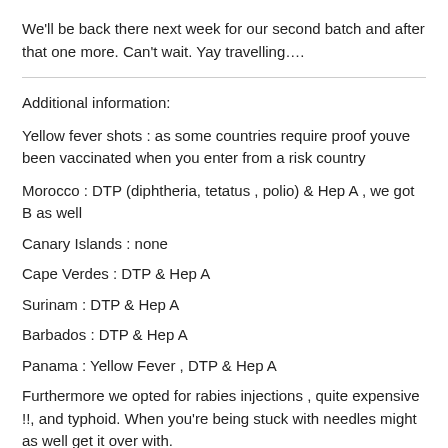We'll be back there next week for our second batch and after that one more. Can't wait. Yay travelling….
Additional information:
Yellow fever shots : as some countries require proof youve been vaccinated when you enter from a risk country
Morocco : DTP (diphtheria, tetatus , polio) & Hep A , we got B as well
Canary Islands : none
Cape Verdes : DTP & Hep A
Surinam : DTP & Hep A
Barbados : DTP & Hep A
Panama : Yellow Fever , DTP & Hep A
Furthermore we opted for rabies injections , quite expensive !!, and typhoid. When you're being stuck with needles might as well get it over with.